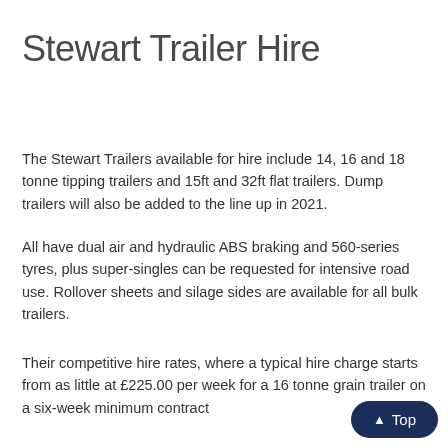Stewart Trailer Hire
The Stewart Trailers available for hire include 14, 16 and 18 tonne tipping trailers and 15ft and 32ft flat trailers. Dump trailers will also be added to the line up in 2021.
All have dual air and hydraulic ABS braking and 560-series tyres, plus super-singles can be requested for intensive road use. Rollover sheets and silage sides are available for all bulk trailers.
Their competitive hire rates, where a typical hire charge starts from as little at £225.00 per week for a 16 tonne grain trailer on a six-week minimum contract